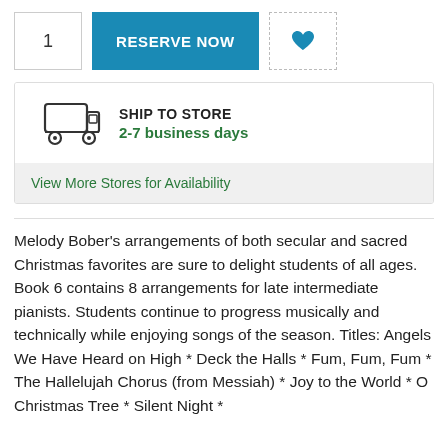1
RESERVE NOW
[Figure (illustration): Heart icon (favorite/wishlist button)]
[Figure (illustration): Delivery truck icon for Ship to Store section]
SHIP TO STORE
2-7 business days
View More Stores for Availability
Melody Bober's arrangements of both secular and sacred Christmas favorites are sure to delight students of all ages. Book 6 contains 8 arrangements for late intermediate pianists. Students continue to progress musically and technically while enjoying songs of the season. Titles: Angels We Have Heard on High * Deck the Halls * Fum, Fum, Fum * The Hallelujah Chorus (from Messiah) * Joy to the World * O Christmas Tree * Silent Night *